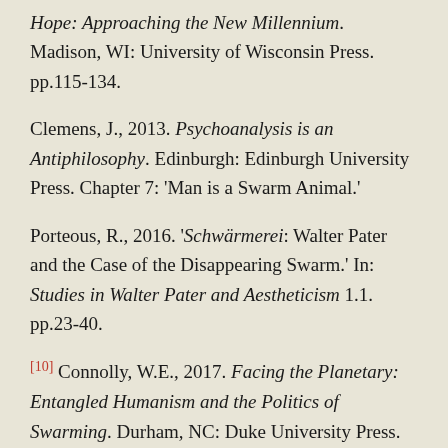Hope: Approaching the New Millennium. Madison, WI: University of Wisconsin Press. pp.115-134.
Clemens, J., 2013. Psychoanalysis is an Antiphilosophy. Edinburgh: Edinburgh University Press. Chapter 7: 'Man is a Swarm Animal.'
Porteous, R., 2016. 'Schwärmerei: Walter Pater and the Case of the Disappearing Swarm.' In: Studies in Walter Pater and Aestheticism 1.1. pp.23-40.
[10] Connolly, W.E., 2017. Facing the Planetary: Entangled Humanism and the Politics of Swarming. Durham, NC: Duke University Press.